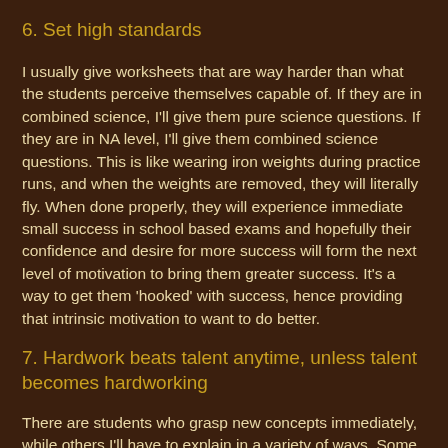6. Set high standards
I usually give worksheets that are way harder than what the students perceive themselves capable of. If they are in combined science, I'll give them pure science questions. If they are in NA level, I'll give them combined science questions. This is like wearing iron weights during practice runs, and when the weights are removed, they will literally fly. When done properly, they will experience immediate small success in school based exams and hopefully their confidence and desire for more success will form the next level of motivation to bring them greater success. It's a way to get them 'hooked' with success, hence providing that intrinsic motivation to want to do better.
7. Hardwork beats talent anytime, unless talent becomes hardworking
There are students who grasp new concepts immediately, while others I'll have to explain in a variety of ways. Some students are just more talented in doing math or science. But